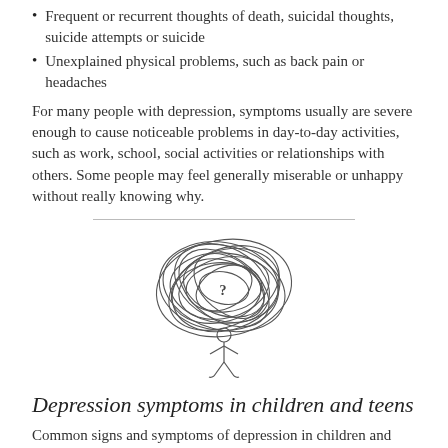Frequent or recurrent thoughts of death, suicidal thoughts, suicide attempts or suicide
Unexplained physical problems, such as back pain or headaches
For many people with depression, symptoms usually are severe enough to cause noticeable problems in day-to-day activities, such as work, school, social activities or relationships with others. Some people may feel generally miserable or unhappy without really knowing why.
[Figure (illustration): A stick figure person with a large tangled cloud of scribbles above their head containing a question mark, representing confused or troubled thoughts.]
Depression symptoms in children and teens
Common signs and symptoms of depression in children and teenagers are similar to those of adults, but there can be some differences.